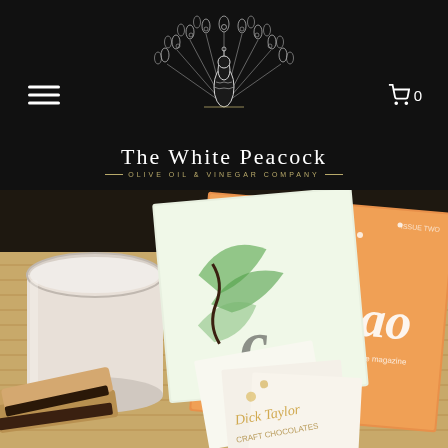[Figure (logo): The White Peacock Olive Oil & Vinegar Company logo - white peacock illustration with decorative feathers on black background]
[Figure (photo): Overhead flat-lay photo showing chocolate-themed magazines titled 'cacao - the craft chocolate magazine', chocolate biscotti cookies, a glass of milk, and various chocolate wrapper cards on a wooden board surface]